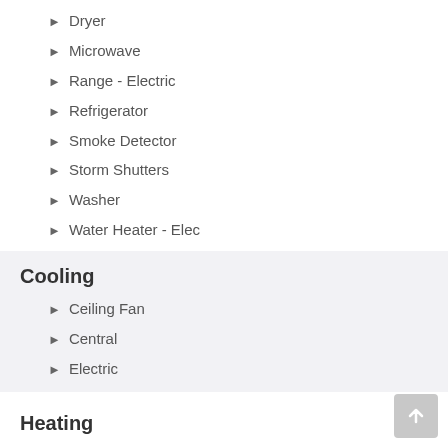Dryer
Microwave
Range - Electric
Refrigerator
Smoke Detector
Storm Shutters
Washer
Water Heater - Elec
Cooling
Ceiling Fan
Central
Electric
Heating
Central
Electric